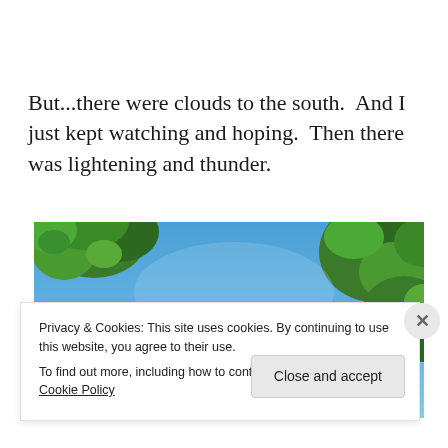But...there were clouds to the south.  And I just kept watching and hoping.  Then there was lightening and thunder.
[Figure (photo): Photograph of a bright blue sky with green tree branches and leaves visible at the top and right edges of the frame.]
Privacy & Cookies: This site uses cookies. By continuing to use this website, you agree to their use.
To find out more, including how to control cookies, see here: Cookie Policy